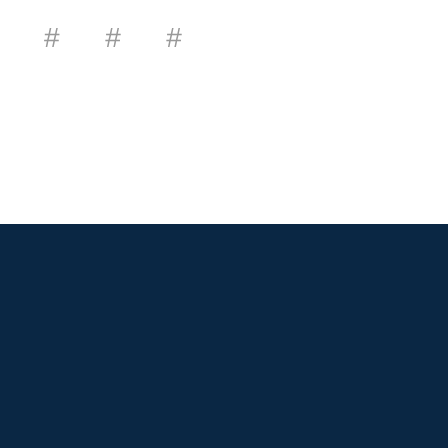# # #
NAVIGATION
Home
About
Our Beers
Locations